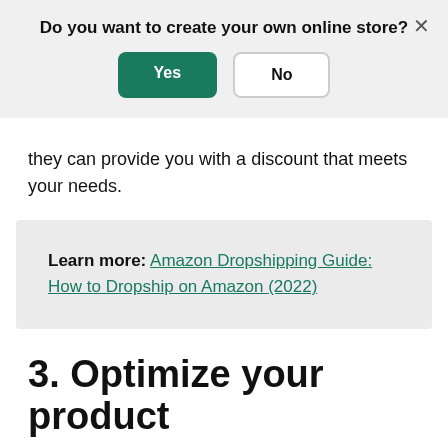[Figure (screenshot): Modal dialog overlay with question 'Do you want to create your own online store?' and two buttons: 'Yes' (green) and 'No' (white/outlined), with an X close button in the top right corner.]
they can provide you with a discount that meets your needs.
Learn more: Amazon Dropshipping Guide: How to Dropship on Amazon (2022)
3. Optimize your product